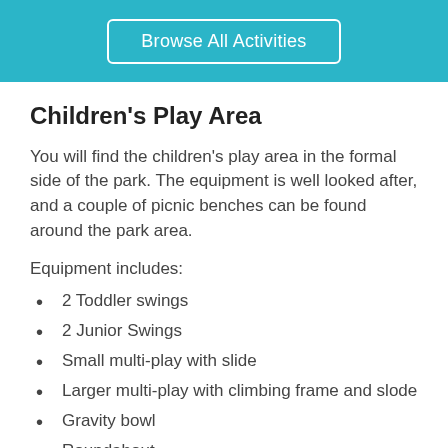Browse All Activities
Children's Play Area
You will find the children's play area in the formal side of the park. The equipment is well looked after, and a couple of picnic benches can be found around the park area.
Equipment includes:
2 Toddler swings
2 Junior Swings
Small multi-play with slide
Larger multi-play with climbing frame and slode
Gravity bowl
Roundabout